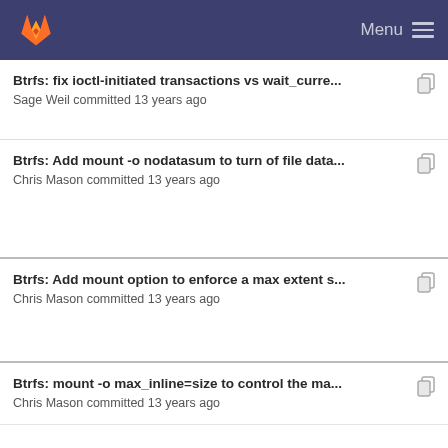GitLab Menu
Btrfs: fix ioctl-initiated transactions vs wait_curre... — Sage Weil committed 13 years ago
Btrfs: Add mount -o nodatasum to turn of file data... — Chris Mason committed 13 years ago
Btrfs: Add mount option to enforce a max extent s... — Chris Mason committed 13 years ago
Btrfs: mount -o max_inline=size to control the ma... — Chris Mason committed 13 years ago